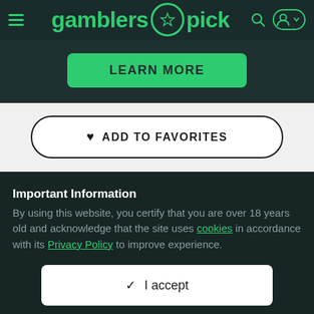gamblers★pick
[Figure (screenshot): LEARN MORE button in green on dark teal background]
[Figure (screenshot): ADD TO FAVORITES button with heart icon on light grey background]
Important Information
By using this website, you certify that you are over 18 years old and acknowledge that the site uses cookies in accordance with its Privacy Policy to improve experience.
[Figure (screenshot): I accept button with checkmark on dark teal background]